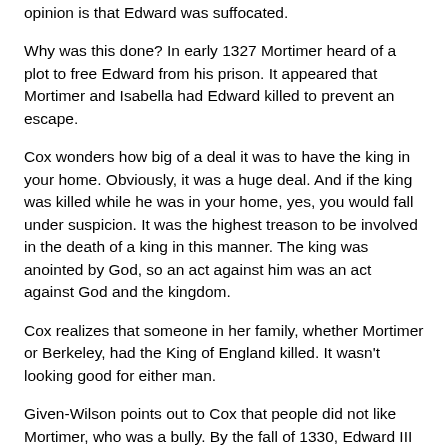opinion is that Edward was suffocated.
Why was this done?  In early 1327 Mortimer heard of a plot to free Edward from his prison.  It appeared that Mortimer and Isabella had Edward killed to prevent an escape.
Cox wonders how big of a deal it was to have the king in your home.  Obviously, it was a huge deal.  And if the king was killed while he was in your home, yes, you would fall under suspicion.  It was the highest treason to be involved in the death of a king in this manner.  The king was anointed by God, so an act against him was an act against God and the kingdom.
Cox realizes that someone in her family, whether Mortimer or Berkeley, had the King of England killed.  It wasn't looking good for either man.
Given-Wilson points out to Cox that people did not like Mortimer, who was a bully.  By the fall of 1330, Edward III was 17 years old and tired of listening to Mortimer.  He had Mortimer arrested and launched a parliamentary investigation into Edward II's death.  The investigation